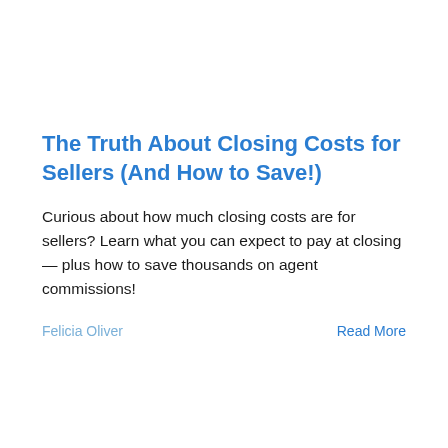The Truth About Closing Costs for Sellers (And How to Save!)
Curious about how much closing costs are for sellers? Learn what you can expect to pay at closing — plus how to save thousands on agent commissions!
Felicia Oliver
Read More